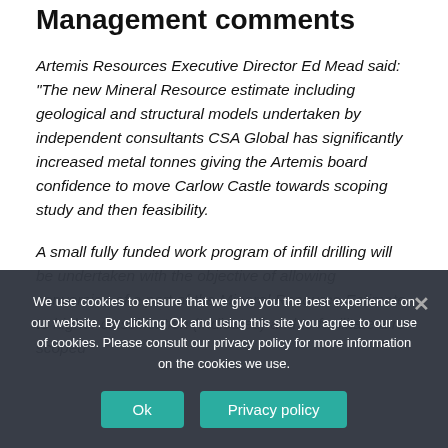Management comments
Artemis Resources Executive Director Ed Mead said: “The new Mineral Resource estimate including geological and structural models undertaken by independent consultants CSA Global has significantly increased metal tonnes giving the Artemis board confidence to move Carlow Castle towards scoping study and then feasibility.
A small fully funded work program of infill drilling will be undertaken with the objective of allowing conversion of a part of the Mineral Resource Estimate to higher classification (Indicated) and to facilitate a re-scoped study.
We use cookies to ensure that we give you the best experience on our website. By clicking Ok and using this site you agree to our use of cookies. Please consult our privacy policy for more information on the cookies we use.